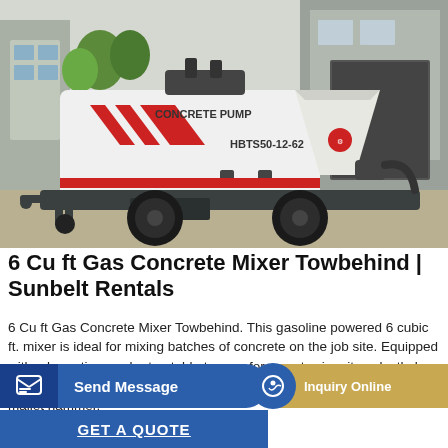[Figure (photo): A white towable concrete pump (HBTS50-12-62) with red chevron stripe graphics, large rubber tires, and a hopper, parked on a concrete surface outdoors near a building.]
6 Cu ft Gas Concrete Mixer Towbehind | Sunbelt Rentals
6 Cu ft Gas Concrete Mixer Towbehind. This gasoline powered 6 cubic ft. mixer is ideal for mixing batches of concrete on the job site. Equipped with a large tires and retractable tongue for easy towing, its polyethylene drum wont rust or dent and can be easily cleaned with the help of a mallet hammer.
Send Message
Inquiry Online
GET A QUOTE